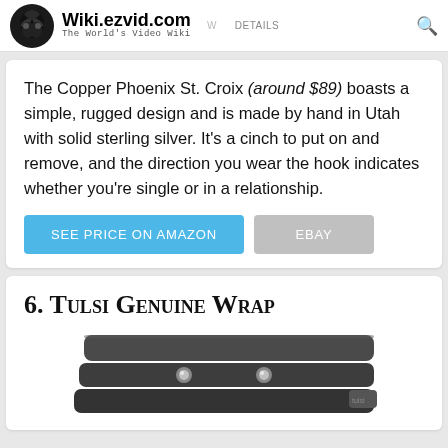Wiki.ezvid.com — The World's Video Wiki
The Copper Phoenix St. Croix (around $89) boasts a simple, rugged design and is made by hand in Utah with solid sterling silver. It's a cinch to put on and remove, and the direction you wear the hook indicates whether you're single or in a relationship.
SEE PRICE ON AMAZON | EBAY
6. Tulsi Genuine Wrap
[Figure (photo): Photo of a dark leather wrap bracelet with metal studs]